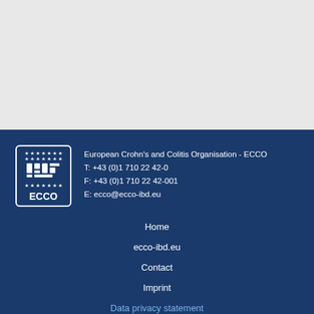[Figure (logo): ECCO logo — European Crohn's and Colitis Organisation shield with stars and ECCO text]
European Crohn's and Colitis Organisation - ECCO
T: +43 (0)1 710 22 42-0
F: +43 (0)1 710 22 42-001
E: ecco@ecco-ibd.eu
Home
ecco-ibd.eu
Contact
Imprint
Data privacy statement